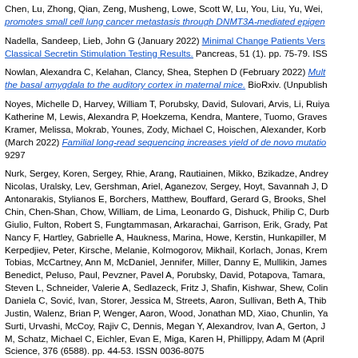Chen, Lu, Zhong, Qian, Zeng, Musheng, Lowe, Scott W, Lu, You, Liu, Yu, Wei, … promotes small cell lung cancer metastasis through DNMT3A-mediated epigene…
Nadella, Sandeep, Lieb, John G (January 2022) Minimal Change Patients Vers… Classical Secretin Stimulation Testing Results. Pancreas, 51 (1). pp. 75-79. ISS…
Nowlan, Alexandra C, Kelahan, Clancy, Shea, Stephen D (February 2022) Multi… the basal amygdala to the auditory cortex in maternal mice. BioRxiv. (Unpublish…
Noyes, Michelle D, Harvey, William T, Porubsky, David, Sulovari, Arvis, Li, Ruiya…, Katherine M, Lewis, Alexandra P, Hoekzema, Kendra, Mantere, Tuomo, Graves…, Kramer, Melissa, Mokrab, Younes, Zody, Michael C, Hoischen, Alexander, Korb… (March 2022) Familial long-read sequencing increases yield of de novo mutatio… 9297
Nurk, Sergey, Koren, Sergey, Rhie, Arang, Rautiainen, Mikko, Bzikadze, Andrey…, Nicolas, Uralsky, Lev, Gershman, Ariel, Aganezov, Sergey, Hoyt, Savannah J, D…, Antonarakis, Stylianos E, Borchers, Matthew, Bouffard, Gerard G, Brooks, Shel…, Chin, Chen-Shan, Chow, William, de Lima, Leonardo G, Dishuck, Philip C, Durb…, Giulio, Fulton, Robert S, Fungtammasan, Arkarachai, Garrison, Erik, Grady, Pat…, Nancy F, Hartley, Gabrielle A, Haukness, Marina, Howe, Kerstin, Hunkapiller, M…, Kerpedjiev, Peter, Kirsche, Melanie, Kolmogorov, Mikhail, Korlach, Jonas, Krem…, Tobias, McCartney, Ann M, McDaniel, Jennifer, Miller, Danny E, Mullikin, James…, Benedict, Peluso, Paul, Pevzner, Pavel A, Porubsky, David, Potapova, Tamara,…, Steven L, Schneider, Valerie A, Sedlazeck, Fritz J, Shafin, Kishwar, Shew, Colin…, Daniela C, Sović, Ivan, Storer, Jessica M, Streets, Aaron, Sullivan, Beth A, Thib…, Justin, Walenz, Brian P, Wenger, Aaron, Wood, Jonathan MD, Xiao, Chunlin, Ya…, Surti, Urvashi, McCoy, Rajiv C, Dennis, Megan Y, Alexandrov, Ivan A, Gerton, J…, M, Schatz, Michael C, Eichler, Evan E, Miga, Karen H, Phillippy, Adam M (April … Science, 376 (6588). pp. 44-53. ISSN 0036-8075